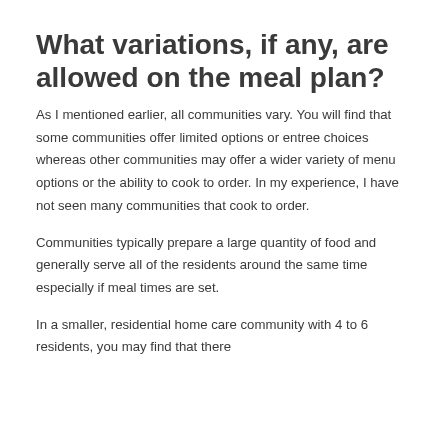What variations, if any, are allowed on the meal plan?
As I mentioned earlier, all communities vary. You will find that some communities offer limited options or entree choices whereas other communities may offer a wider variety of menu options or the ability to cook to order. In my experience, I have not seen many communities that cook to order.
Communities typically prepare a large quantity of food and generally serve all of the residents around the same time especially if meal times are set.
In a smaller, residential home care community with 4 to 6 residents, you may find that there